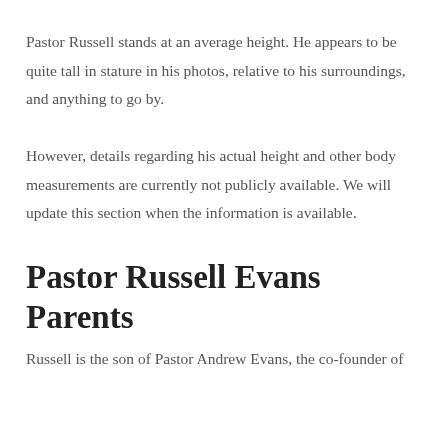Pastor Russell stands at an average height. He appears to be quite tall in stature in his photos, relative to his surroundings, and anything to go by.
However, details regarding his actual height and other body measurements are currently not publicly available. We will update this section when the information is available.
Pastor Russell Evans Parents
Russell is the son of Pastor Andrew Evans, the co-founder of Family First. He is further a conditioning in the South…